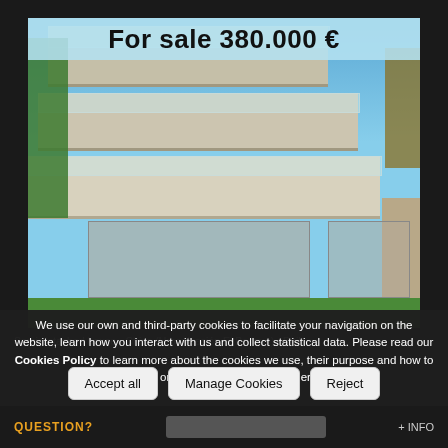[Figure (photo): Exterior photo of a modern semi-detached house with multiple balconies with glass railings, large garage door, garden lawn, blue sky, surrounded by trees and stone wall. Price banner overlay reading 'For sale 380.000 €' at the top of the image.]
Semi-detached house - Chiva (Urbanización El Bosque) · Built
We use our own and third-party cookies to facilitate your navigation on the website, learn how you interact with us and collect statistical data. Please read our Cookies Policy to learn more about the cookies we use, their purpose and how to configure or reject them, if you consider it so.
Accept all
Manage Cookies
Reject
QUESTION?
+ INFO